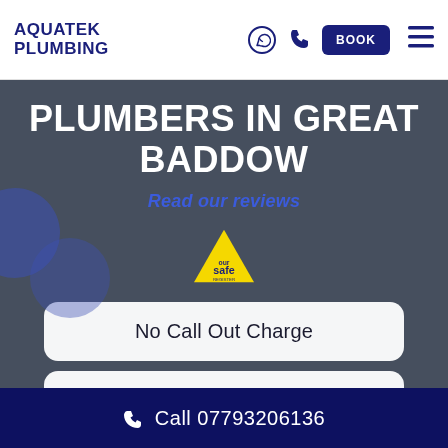AQUATEK PLUMBING — BOOK — navigation icons
PLUMBERS IN GREAT BADDOW
Read our reviews
[Figure (logo): Gas Safe Register yellow triangle logo with 'safe' text inside]
No Call Out Charge
Work Satisfaction Guaranteed
No Payment Upfront
Call 07793206136